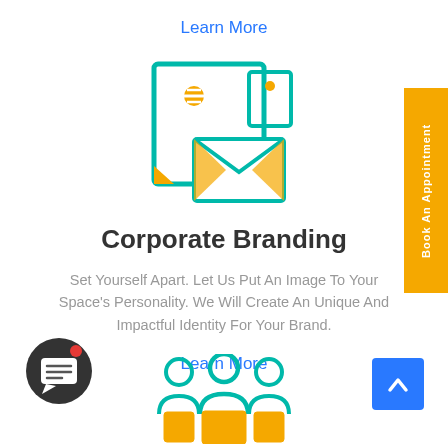Learn More
[Figure (illustration): Corporate branding icon: teal/green outlined stationery set with envelope, document/letterhead with yellow logo element, and small card]
Corporate Branding
Set Yourself Apart. Let Us Put An Image To Your Space's Personality. We Will Create An Unique And Impactful Identity For Your Brand.
Learn More
[Figure (illustration): Dark circular chat bubble button with red notification dot]
[Figure (illustration): Teal team/people group icon showing three figures]
[Figure (illustration): Blue square back-to-top button with white upward chevron]
[Figure (illustration): Yellow vertical sidebar button reading 'Book An Appointment']